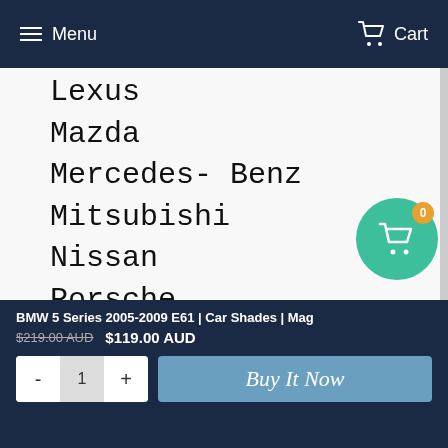Menu  Cart
Lexus
Mazda
Mercedes- Benz
Mitsubishi
Nissan
Porsche
Subaru
Suzuki
Toyota
Volkswagen
Volvo
BMW 5 Series 2005-2009 E61 | Car Shades | Mag
$219.00 AUD  $119.00 AUD
- 1 +  Buy It Now